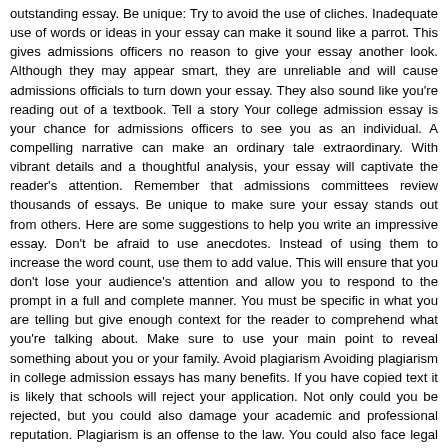outstanding essay. Be unique: Try to avoid the use of cliches. Inadequate use of words or ideas in your essay can make it sound like a parrot. This gives admissions officers no reason to give your essay another look. Although they may appear smart, they are unreliable and will cause admissions officials to turn down your essay. They also sound like you're reading out of a textbook. Tell a story Your college admission essay is your chance for admissions officers to see you as an individual. A compelling narrative can make an ordinary tale extraordinary. With vibrant details and a thoughtful analysis, your essay will captivate the reader's attention. Remember that admissions committees review thousands of essays. Be unique to make sure your essay stands out from others. Here are some suggestions to help you write an impressive essay. Don't be afraid to use anecdotes. Instead of using them to increase the word count, use them to add value. This will ensure that you don't lose your audience's attention and allow you to respond to the prompt in a full and complete manner. You must be specific in what you are telling but give enough context for the reader to comprehend what you're talking about. Make sure to use your main point to reveal something about you or your family. Avoid plagiarism Avoiding plagiarism in college admission essays has many benefits. If you have copied text it is likely that schools will reject your application. Not only could you be rejected, but you could also damage your academic and professional reputation. Plagiarism is an offense to the law. You could also face legal penalties and be held accountable for the cost of compensating the original author. Read on for more information on how to avoid plagiarism in college admission essays. You can easily spot plagiarism in an admissions essay due to its lack of originality. Many students from other countries find it easier to copy ideas from others rather than being intimidated by the blank page. However, plagiarism in admission essays hurts your chances of being accepted and therefore, you should never copywork. If the admissions committee discovers that you have copied a